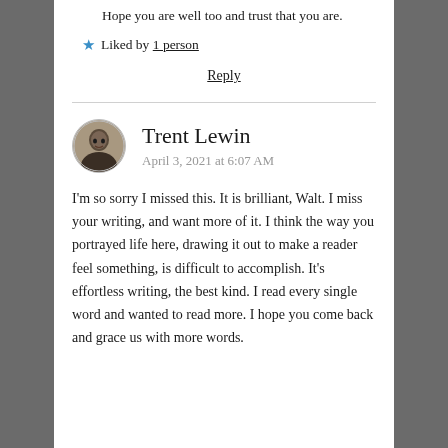Hope you are well too and trust that you are.
★ Liked by 1 person
Reply
Trent Lewin
April 3, 2021 at 6:07 AM
I'm so sorry I missed this. It is brilliant, Walt. I miss your writing, and want more of it. I think the way you portrayed life here, drawing it out to make a reader feel something, is difficult to accomplish. It's effortless writing, the best kind. I read every single word and wanted to read more. I hope you come back and grace us with more words.